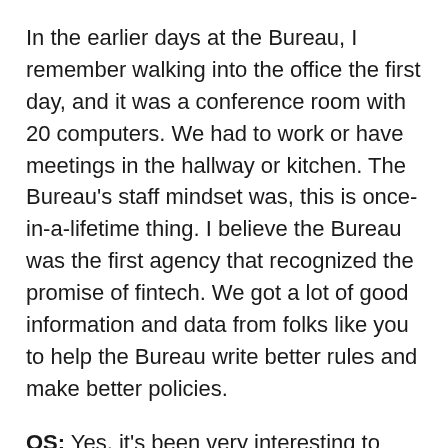In the earlier days at the Bureau, I remember walking into the office the first day, and it was a conference room with 20 computers. We had to work or have meetings in the hallway or kitchen. The Bureau's staff mindset was, this is once-in-a-lifetime thing. I believe the Bureau was the first agency that recognized the promise of fintech. We got a lot of good information and data from folks like you to help the Bureau write better rules and make better policies.
OS: Yes, it's been very interesting to work with the Bureau's research department, and be able to provide anonymized aggregate data to support the Bureau's requests for comment. But it's not like you guys were very gentle on the enforcement side. There were a lot of inspections